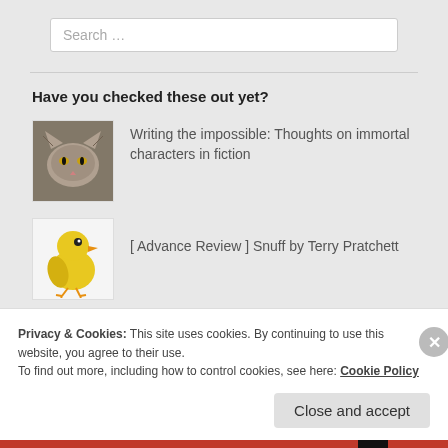Search …
Have you checked these out yet?
[Figure (photo): Thumbnail of a cat]
Writing the impossible: Thoughts on immortal characters in fiction
[Figure (illustration): Yellow bird illustration]
[ Advance Review ] Snuff by Terry Pratchett
[Figure (illustration): Yellow bird with red accessory illustration]
[ Book Review ] Indie Series: Fate's Mirror
Privacy & Cookies: This site uses cookies. By continuing to use this website, you agree to their use.
To find out more, including how to control cookies, see here: Cookie Policy
Close and accept